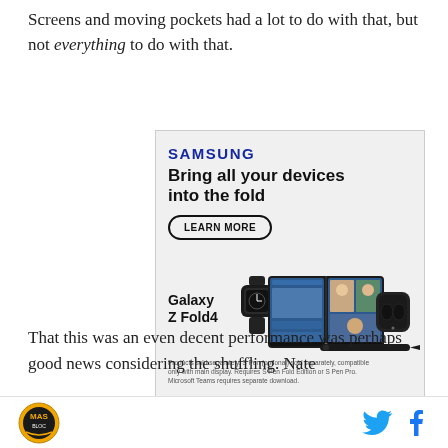Screens and moving pockets had a lot to do with that, but not everything to do with that.
[Figure (illustration): Samsung advertisement for Galaxy Z Fold4. Features Samsung logo, headline 'Bring all your devices into the fold', a 'LEARN MORE' button, product images of the Galaxy Z Fold4 phone open showing a video call, a smartwatch, wireless earbuds, and an S Pen. Disclaimer text at bottom.]
That this was an even decent performance was perhaps good news considering the shuffling. Nate
M [logo icon] [Twitter bird icon] [Facebook f icon]